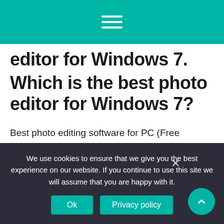editor for Windows 7.
Which is the best photo editor for Windows 7?
Best photo editing software for PC (Free Download)
PhotoScape X.
Lightroom.
We use cookies to ensure that we give you the best experience on our website. If you continue to use this site we will assume that you are happy with it.